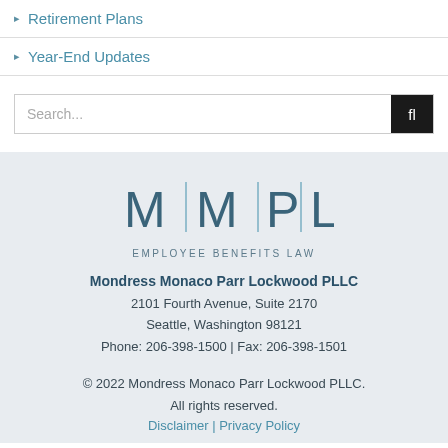▸ Retirement Plans
▸ Year-End Updates
Search...
[Figure (logo): MMPL Employee Benefits Law logo with vertical dividers between letters]
Mondress Monaco Parr Lockwood PLLC
2101 Fourth Avenue, Suite 2170
Seattle, Washington 98121
Phone: 206-398-1500 | Fax: 206-398-1501
© 2022 Mondress Monaco Parr Lockwood PLLC. All rights reserved.
Disclaimer | Privacy Policy